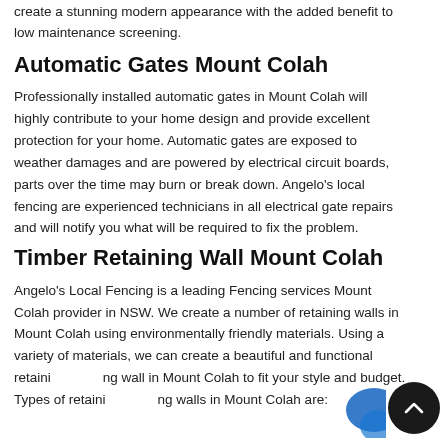create a stunning modern appearance with the added benefit to low maintenance screening.
Automatic Gates Mount Colah
Professionally installed automatic gates in Mount Colah will highly contribute to your home design and provide excellent protection for your home. Automatic gates are exposed to weather damages and are powered by electrical circuit boards, parts over the time may burn or break down. Angelo's local fencing are experienced technicians in all electrical gate repairs and will notify you what will be required to fix the problem.
Timber Retaining Wall Mount Colah
Angelo's Local Fencing is a leading Fencing services Mount Colah provider in NSW. We create a number of retaining walls in Mount Colah using environmentally friendly materials. Using a variety of materials, we can create a beautiful and functional retaining wall in Mount Colah to fit your style and budget. Types of retaining walls in Mount Colah are: